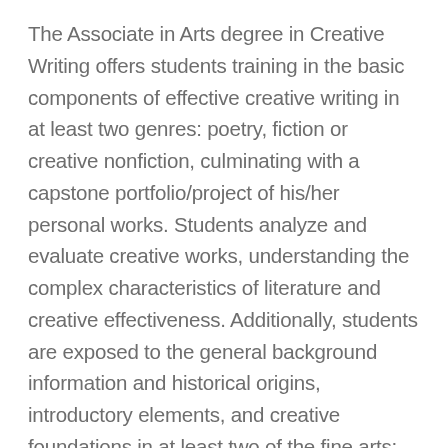The Associate in Arts degree in Creative Writing offers students training in the basic components of effective creative writing in at least two genres: poetry, fiction or creative nonfiction, culminating with a capstone portfolio/project of his/her personal works. Students analyze and evaluate creative works, understanding the complex characteristics of literature and creative effectiveness. Additionally, students are exposed to the general background information and historical origins, introductory elements, and creative foundations in at least two of the fine arts: visual art, music, the humanities, and theater. This degree prepares students for work as a creative writer, or for transfer to a four-year college, earning a bachelor's in fine arts degree.